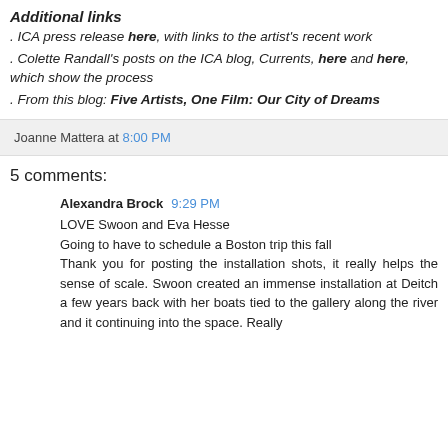Additional links
. ICA press release here, with links to the artist's recent work
. Colette Randall's posts on the ICA blog, Currents, here and here, which show the process
. From this blog: Five Artists, One Film: Our City of Dreams
Joanne Mattera at 8:00 PM
5 comments:
Alexandra Brock 9:29 PM
LOVE Swoon and Eva Hesse
Going to have to schedule a Boston trip this fall
Thank you for posting the installation shots, it really helps the sense of scale. Swoon created an immense installation at Deitch a few years back with her boats tied to the gallery along the river and it continuing into the space. Really